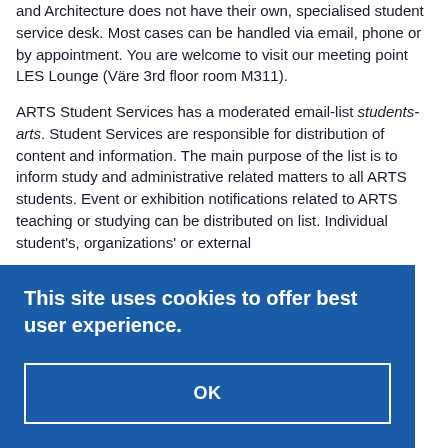and Architecture does not have their own, specialised student service desk. Most cases can be handled via email, phone or by appointment. You are welcome to visit our meeting point LES Lounge (Väre 3rd floor room M311).
ARTS Student Services has a moderated email-list students-arts. Student Services are responsible for distribution of content and information. The main purpose of the list is to inform study and administrative related matters to all ARTS students. Event or exhibition notifications related to ARTS teaching or studying can be distributed on list. Individual student's, organizations' or external...
[Figure (screenshot): Cookie consent overlay banner with blue background saying 'This site uses cookies to offer best user experience.' with an OK button.]
Visiting address: Undergraduate centre,